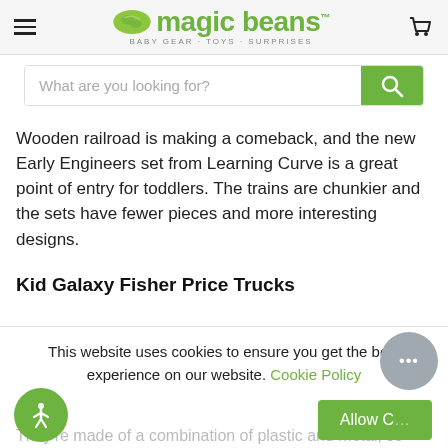magic beans — BABY GEAR · TOYS · SURPRISES
[Figure (screenshot): Search bar with placeholder text 'What are you looking for?' and green search button]
Wooden railroad is making a comeback, and the new Early Engineers set from Learning Curve is a great point of entry for toddlers. The trains are chunkier and the sets have fewer pieces and more interesting designs.
Kid Galaxy Fisher Price Trucks
This website uses cookies to ensure you get the best experience on our website. Cookie Policy
They're made of a combination of plastic and metal, so